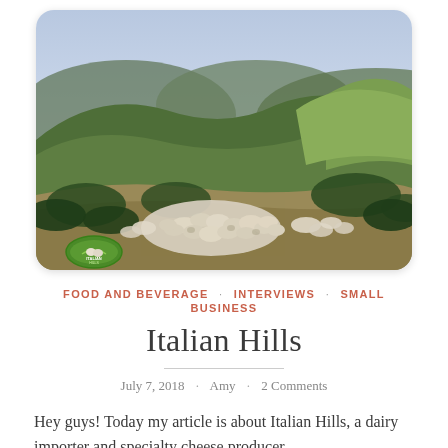[Figure (photo): Aerial/drone photo of Italian rolling hills with green shrubs and trees, a large flock of sheep gathered in the lower center, and a hazy blue sky in the background. A small oval logo with a sheep and hills is visible in the lower left corner of the image.]
FOOD AND BEVERAGE · INTERVIEWS · SMALL BUSINESS
Italian Hills
July 7, 2018 · Amy · 2 Comments
Hey guys! Today my article is about Italian Hills, a dairy importer and specialty cheese producer